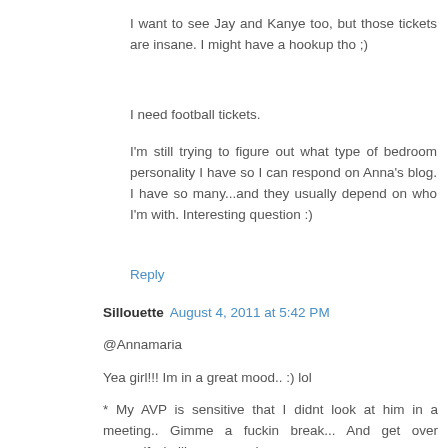I want to see Jay and Kanye too, but those tickets are insane. I might have a hookup tho ;)
I need football tickets.
I'm still trying to figure out what type of bedroom personality I have so I can respond on Anna's blog. I have so many...and they usually depend on who I'm with. Interesting question :)
Reply
Sillouette  August 4, 2011 at 5:42 PM
@Annamaria
Yea girl!!! Im in a great mood.. :) lol
* My AVP is sensitive that I didnt look at him in a meeting.. Gimme a fuckin break... And get over yourself.. (rolling my eyes)